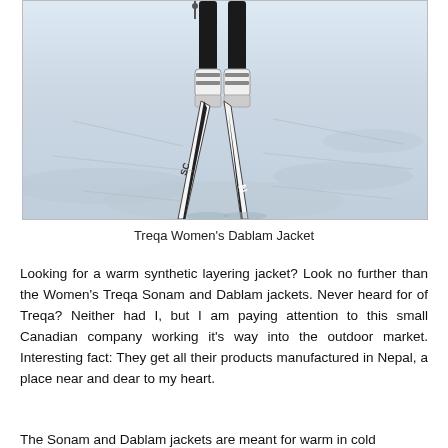[Figure (photo): Photo of a skier's lower body on snow, wearing black ski pants and white/black skis with Nordica branding, viewed from behind on a snowy slope.]
Treqa Women's Dablam Jacket
Looking for a warm synthetic layering jacket? Look no further than the Women's Treqa Sonam and Dablam jackets. Never heard for of Treqa? Neither had I, but I am paying attention to this small Canadian company working it's way into the outdoor market. Interesting fact: They get all their products manufactured in Nepal, a place near and dear to my heart.
The Sonam and Dablam jackets are meant for warm in cold